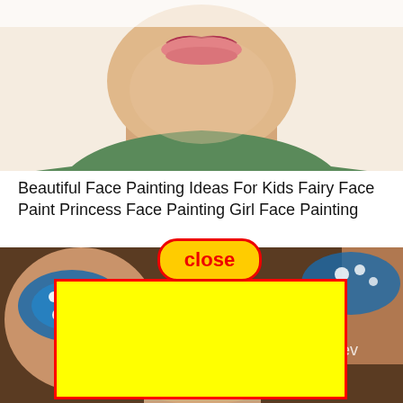[Figure (photo): Close-up photo of a child's lower face and neck, pink lips visible, wearing a green top, white/light background]
Beautiful Face Painting Ideas For Kids Fairy Face Paint Princess Face Painting Girl Face Painting
[Figure (photo): Photo of a child with blue and white snowflake/Frozen-themed face paint around the eye area. A yellow rectangle with red border overlays the center. A 'close' button in yellow/red is shown at the top center.]